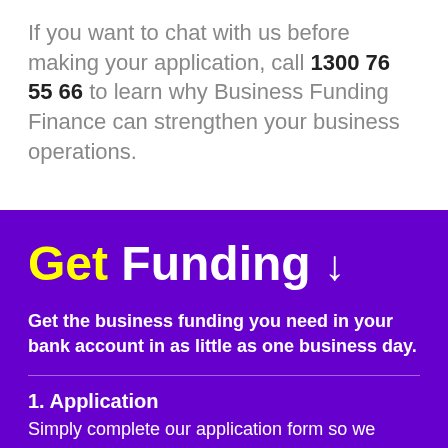If you want to chat with us before making your application, call 1300 76 55 66 to learn why Business Funding Finance can strengthen your business operations.
Get Funding ↓
Get the business funding you need in your bank account in as little as one business day.
1. Application
Simply complete our application form so we